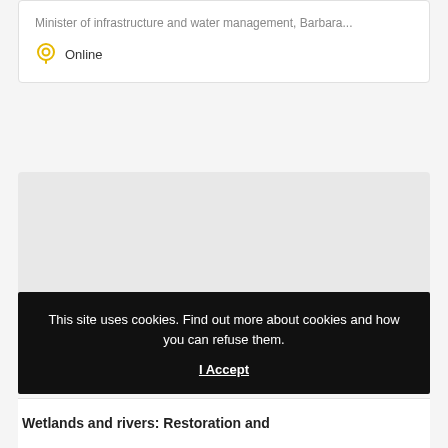Minister of infrastructure and water management, Barbara...
Online
[Figure (other): Gray placeholder image block]
This site uses cookies. Find out more about cookies and how you can refuse them.
I Accept
Wetlands and rivers: Restoration and